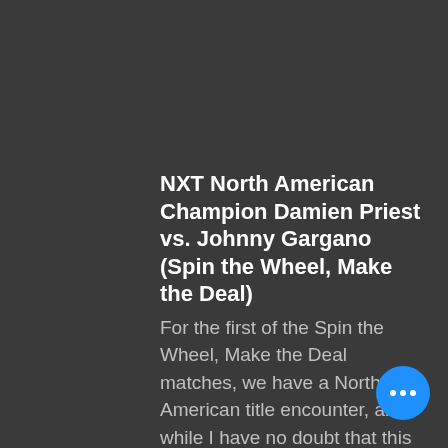NXT North American Champion Damien Priest vs. Johnny Gargano (Spin the Wheel, Make the Deal)
For the first of the Spin the Wheel, Make the Deal matches, we have a North American title encounter, and while I have no doubt that this will be a sleeper hit, if not the show-stealer, Johnny Gargano does not need this win. Priest's run as champion has been a solid one thus far, and as much as I too want to see the Garganos hold the gold, I think that Mrs. Gargano ha better chance of winning her title match